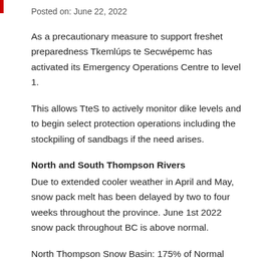Posted on: June 22, 2022
As a precautionary measure to support freshet preparedness Tkemlúps te Secwépemc has activated its Emergency Operations Centre to level 1.
This allows TteS to actively monitor dike levels and to begin select protection operations including the stockpiling of sandbags if the need arises.
North and South Thompson Rivers
Due to extended cooler weather in April and May, snow pack melt has been delayed by two to four weeks throughout the province. June 1st 2022 snow pack throughout BC is above normal.
North Thompson Snow Basin: 175% of Normal